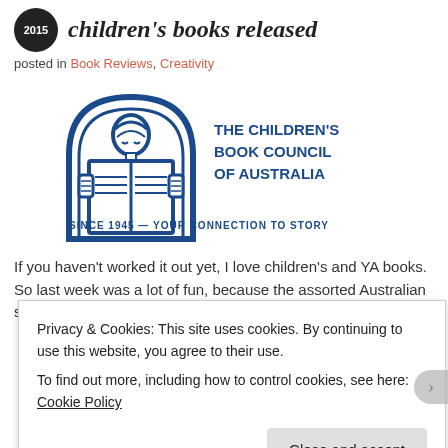children's books released
posted in Book Reviews, Creativity
[Figure (logo): The Children's Book Council of Australia logo — blue illustration of a child reading a book under an arch, with text 'THE CHILDREN'S BOOK COUNCIL OF AUSTRALIA' and 'SINCE 1945 — YOUR CONNECTION TO STORY']
If you haven't worked it out yet, I love children's and YA books. So last week was a lot of fun, because the assorted Australian shortlists for
Privacy & Cookies: This site uses cookies. By continuing to use this website, you agree to their use.
To find out more, including how to control cookies, see here: Cookie Policy
Close and accept